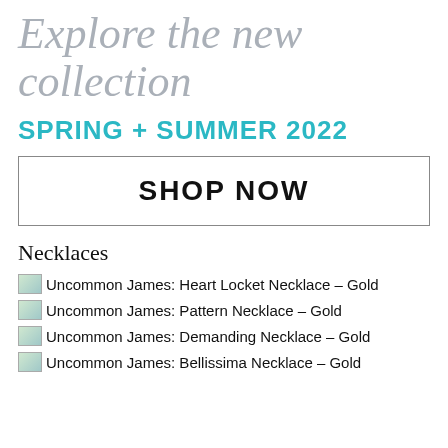Explore the new collection
SPRING + SUMMER 2022
SHOP NOW
Necklaces
Uncommon James: Heart Locket Necklace - Gold
Uncommon James: Pattern Necklace - Gold
Uncommon James: Demanding Necklace - Gold
Uncommon James: Bellissima Necklace - Gold